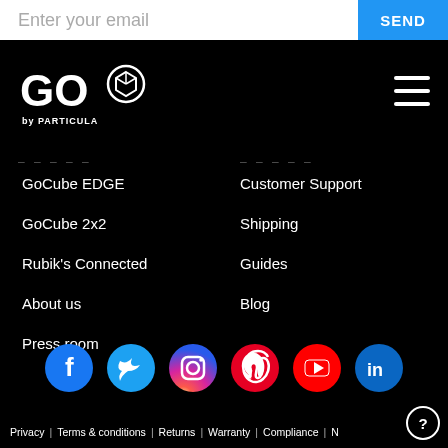Enter your email
SEND
[Figure (logo): GO by PARTICULA logo — white text with a cube icon]
[Figure (other): Hamburger menu icon (three horizontal white lines)]
GoCube EDGE
GoCube 2x2
Rubik's Connected
About us
Press room
Customer Support
Shipping
Guides
Blog
[Figure (other): Social media icons row: Facebook, Twitter, Instagram, Pinterest, YouTube, LinkedIn]
Privacy | Terms & conditions | Returns | Warranty | Compliance |